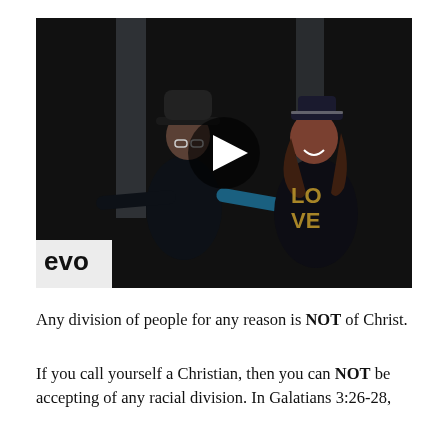[Figure (photo): Video thumbnail showing two people — a man in a wide-brim hat with arms outstretched and a woman in a LOVE sweater with a captain's hat — on a dark stage with a play button overlay. The Vevo watermark is visible in the lower left corner.]
Any division of people for any reason is NOT of Christ.
If you call yourself a Christian, then you can NOT be accepting of any racial division. In Galatians 3:26-28,